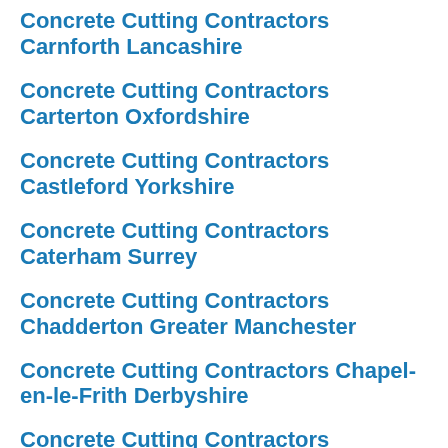Concrete Cutting Contractors Carnforth Lancashire
Concrete Cutting Contractors Carterton Oxfordshire
Concrete Cutting Contractors Castleford Yorkshire
Concrete Cutting Contractors Caterham Surrey
Concrete Cutting Contractors Chadderton Greater Manchester
Concrete Cutting Contractors Chapel-en-le-Frith Derbyshire
Concrete Cutting Contractors